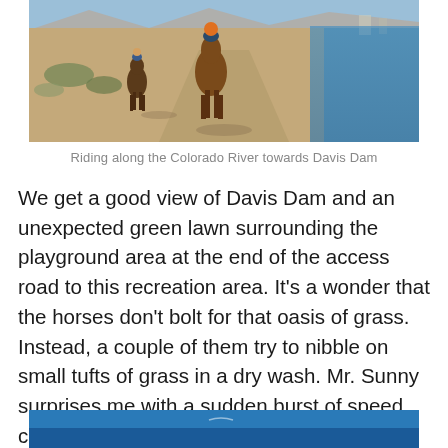[Figure (photo): Horseback riders seen from behind riding along a dirt road beside the Colorado River toward Davis Dam, desert landscape with mountains and water in background]
Riding along the Colorado River towards Davis Dam
We get a good view of Davis Dam and an unexpected green lawn surrounding the playground area at the end of the access road to this recreation area. It's a wonder that the horses don't bolt for that oasis of grass. Instead, a couple of them try to nibble on small tufts of grass in a dry wash. Mr. Sunny surprises me with a sudden burst of speed climbing out of the wash.
[Figure (photo): Partial view of blue sky or water at the bottom of the page]